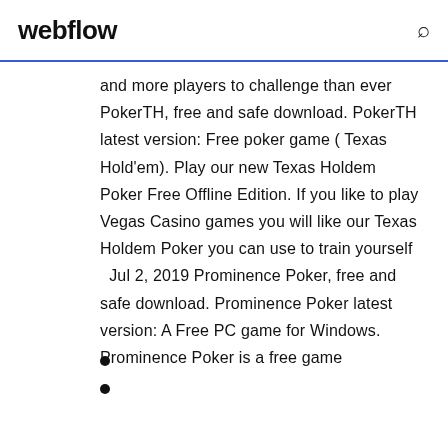webflow
and more players to challenge than ever PokerTH, free and safe download. PokerTH latest version: Free poker game ( Texas Hold'em). Play our new Texas Holdem Poker Free Offline Edition. If you like to play Vegas Casino games you will like our Texas Holdem Poker you can use to train yourself   Jul 2, 2019 Prominence Poker, free and safe download. Prominence Poker latest version: A Free PC game for Windows. Prominence Poker is a free game